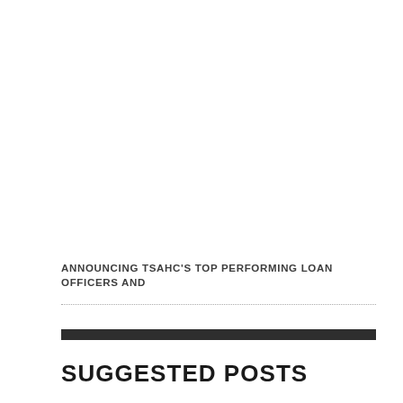ANNOUNCING TSAHC'S TOP PERFORMING LOAN OFFICERS AND
SUGGESTED POSTS